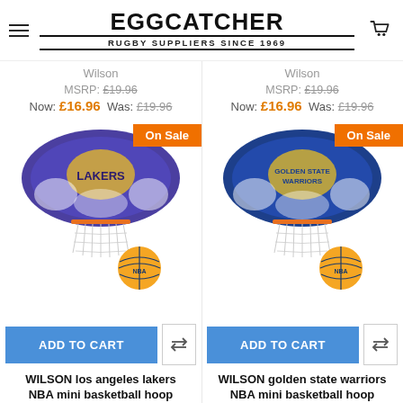EGGCATCHER — RUGBY SUPPLIERS SINCE 1969
Wilson
MSRP: £19.96
Now: £16.96  Was: £19.96
Wilson
MSRP: £19.96
Now: £16.96  Was: £19.96
[Figure (photo): Wilson NBA mini basketball hoop set - Los Angeles Lakers edition, purple/gold backboard with hoop and small basketball]
[Figure (photo): Wilson NBA mini basketball hoop set - Golden State Warriors edition, blue/gold backboard with hoop and small basketball]
ADD TO CART
ADD TO CART
WILSON los angeles lakers NBA mini basketball hoop
WILSON golden state warriors NBA mini basketball hoop